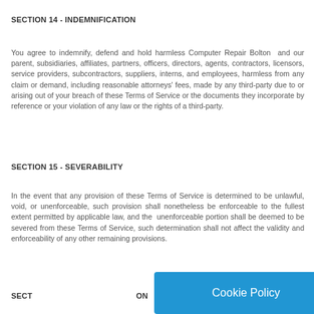SECTION 14 - INDEMNIFICATION
You agree to indemnify, defend and hold harmless Computer Repair Bolton  and our parent, subsidiaries, affiliates, partners, officers, directors, agents, contractors, licensors, service providers, subcontractors, suppliers, interns, and employees, harmless from any claim or demand, including reasonable attorneys' fees, made by any third-party due to or arising out of your breach of these Terms of Service or the documents they incorporate by reference or your violation of any law or the rights of a third-party.
SECTION 15 - SEVERABILITY
In the event that any provision of these Terms of Service is determined to be unlawful, void, or unenforceable, such provision shall nonetheless be enforceable to the fullest extent permitted by applicable law, and the  unenforceable portion shall be deemed to be severed from these Terms of Service, such determination shall not affect the validity and enforceability of any other remaining provisions.
SECT...ON